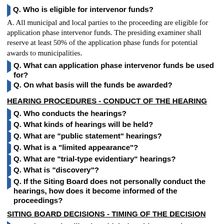Q. Who is eligible for intervenor funds?
A. All municipal and local parties to the proceeding are eligible for application phase intervenor funds. The presiding examiner shall reserve at least 50% of the application phase funds for potential awards to municipalities.
Q. What can application phase intervenor funds be used for?
Q. On what basis will the funds be awarded?
HEARING PROCEDURES - CONDUCT OF THE HEARING
Q. Who conducts the hearings?
Q. What kinds of hearings will be held?
Q. What are "public statement" hearings?
Q. What is a "limited appearance"?
Q. What are "trial-type evidentiary" hearings?
Q. What is "discovery"?
Q. If the Siting Board does not personally conduct the hearings, how does it become informed of the proceedings?
SITING BOARD DECISIONS - TIMING OF THE DECISION
Q. Is there a deadline by which the Siting Board must make